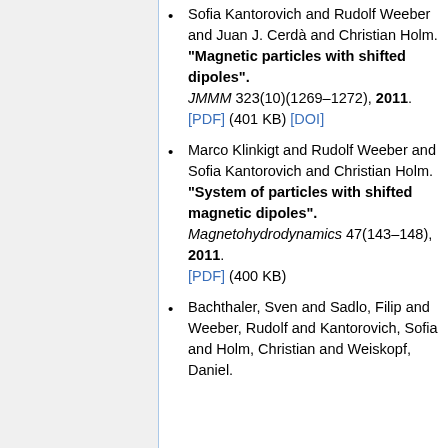Sofia Kantorovich and Rudolf Weeber and Juan J. Cerdà and Christian Holm. "Magnetic particles with shifted dipoles". JMMM 323(10)(1269–1272), 2011. [PDF] (401 KB) [DOI]
Marco Klinkigt and Rudolf Weeber and Sofia Kantorovich and Christian Holm. "System of particles with shifted magnetic dipoles". Magnetohydrodynamics 47(143–148), 2011. [PDF] (400 KB)
Bachthaler, Sven and Sadlo, Filip and Weeber, Rudolf and Kantorovich, Sofia and Holm, Christian and Weiskopf, Daniel.